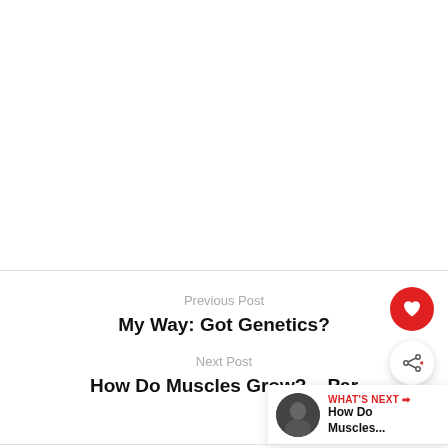Previous Post
My Way: Got Genetics?
Next Post
How Do Muscles Grow? – Par
WHAT'S NEXT → How Do Muscles...